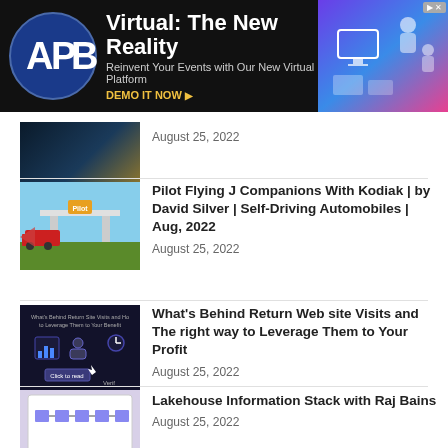[Figure (other): APB advertisement banner: Virtual: The New Reality — Reinvent Your Events with Our New Virtual Platform. DEMO IT NOW.]
[Figure (photo): Partial article thumbnail, dark background with golden light]
August 25, 2022
Pilot Flying J Companions With Kodiak | by David Silver | Self-Driving Automobiles | Aug, 2022
August 25, 2022
What's Behind Return Web site Visits and The right way to Leverage Them to Your Profit
August 25, 2022
Lakehouse Information Stack with Raj Bains
August 25, 2022